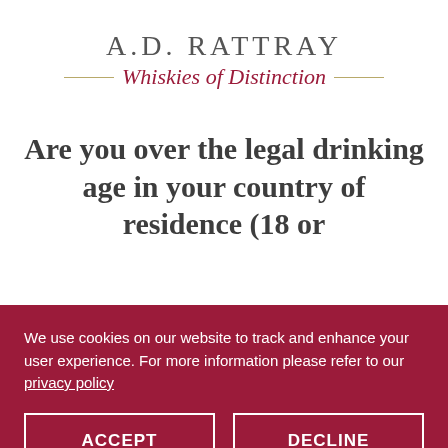[Figure (logo): A.D. Rattray Whiskies of Distinction logo — serif text 'A.D. RATTRAY' above a decorative gold horizontal rule with the italic script 'Whiskies of Distinction' in dark red overlaid]
Are you over the legal drinking age in your country of residence (18 or over)?
We use cookies on our website to track and enhance your user experience. For more information please refer to our privacy policy
ACCEPT
DECLINE